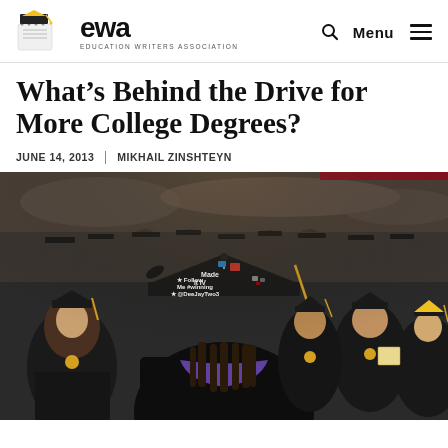EWA EDUCATION WRITERS ASSOCIATION | Menu
What’s Behind the Drive for More College Degrees?
JUNE 14, 2013 | MIKHAIL ZINSHTEYN
[Figure (photo): A college graduation ceremony. In the foreground, a graduate seen from behind has a decorated mortarboard cap reading: I Made It IV, Follow Me, #winning, @DeeJayTwo3. Other graduates in black robes and caps fill the background.]